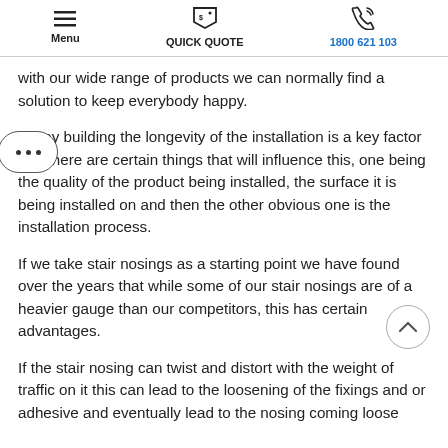Menu | QUICK QUOTE | 1800 621 103
with our wide range of products we can normally find a solution to keep everybody happy.
In any building the longevity of the installation is a key factor and there are certain things that will influence this, one being the quality of the product being installed, the surface it is being installed on and then the other obvious one is the installation process.
If we take stair nosings as a starting point we have found over the years that while some of our stair nosings are of a heavier gauge than our competitors, this has certain advantages.
If the stair nosing can twist and distort with the weight of traffic on it this can lead to the loosening of the fixings and or adhesive and eventually lead to the nosing coming loose